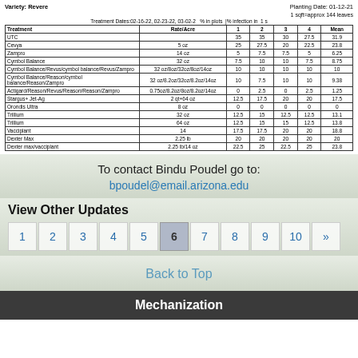Variety: Revere    Planting Date: 01-12-21
1 sqft=approx 144 leaves
Treatment Dates:02-16-22, 02-23-22, 03-02-22    % in plots  % infection in 1 sqft
| Treatment | Rate/Acre | 1 | 2 | 3 | 4 | Mean |
| --- | --- | --- | --- | --- | --- | --- |
| UTC |  | 35 | 35 | 30 | 27.5 | 31.9 |
| Cevya | 5 oz | 25 | 27.5 | 20 | 22.5 | 23.8 |
| Zampro | 14 oz | 5 | 7.5 | 7.5 | 5 | 6.25 |
| Cymbol Balance | 32 oz | 7.5 | 10 | 10 | 7.5 | 8.75 |
| Cymbol Balance/Revus/cymbol balance/Revus/Zampro | 32 oz/8oz/32oz/8oz/14oz | 10 | 10 | 10 | 10 | 10 |
| Cymbol Balance/Reason/cymbol balance/Reason/Zampro | 32 oz/8.2oz/32oz/8.2oz/14oz | 10 | 7.5 | 10 | 10 | 9.38 |
| Actigard/Reason/Revus/Reason/Reason/Zampro | 0.75oz/8.2oz/8oz/8.2oz/14oz | 0 | 2.5 | 0 | 2.5 | 1.25 |
| Stargus+ Jet-Ag | 2 qt+64 oz | 12.5 | 17.5 | 20 | 20 | 17.5 |
| Orondis Ultra | 8 oz | 0 | 0 | 0 | 0 | 0 |
| Trillium | 32 oz | 12.5 | 15 | 12.5 | 12.5 | 13.1 |
| Trillium | 64 oz | 12.5 | 15 | 15 | 12.5 | 13.8 |
| Vacciplant | 14 | 17.5 | 17.5 | 20 | 20 | 18.8 |
| Dexter Max | 2.25 lb | 20 | 20 | 20 | 20 | 20 |
| Dexter max/vacciplant | 2.25 lb/14 oz | 22.5 | 25 | 22.5 | 25 | 23.8 |
To contact Bindu Poudel go to:
bpoudel@email.arizona.edu
View Other Updates
1 2 3 4 5 6 7 8 9 10 »
Back to Top
Mechanization